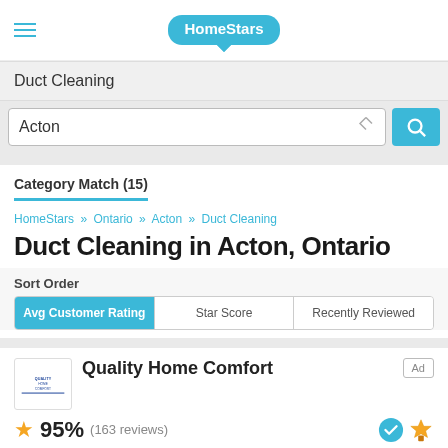HomeStars
Duct Cleaning
Acton
Category Match (15)
HomeStars » Ontario » Acton » Duct Cleaning
Duct Cleaning in Acton, Ontario
Sort Order
Avg Customer Rating | Star Score | Recently Reviewed
Quality Home Comfort
95%  (163 reviews)